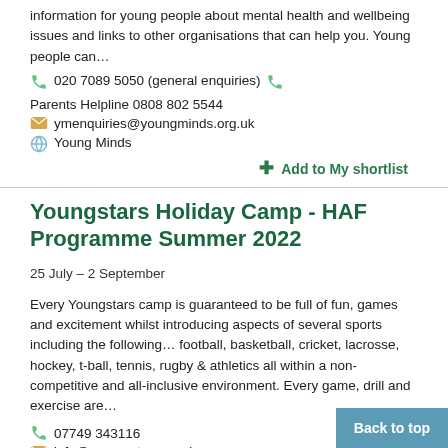information for young people about mental health and wellbeing issues and links to other organisations that can help you. Young people can…
020 7089 5050 (general enquiries)   Parents Helpline 0808 802 5544
ymenquiries@youngminds.org.uk
Young Minds
+ Add to My shortlist
Youngstars Holiday Camp - HAF Programme Summer 2022
25 July – 2 September
Every Youngstars camp is guaranteed to be full of fun, games and excitement whilst introducing aspects of several sports including the following… football, basketball, cricket, lacrosse, hockey, t-ball, tennis, rugby & athletics all within a non-competitive and all-inclusive environment. Every game, drill and exercise are…
07749 343116
info@young-stars.co.uk